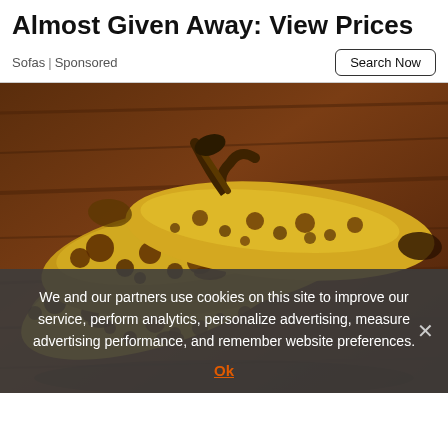Almost Given Away: View Prices
Sofas | Sponsored
Search Now
[Figure (photo): Three overripe bananas with heavy brown spotting lying on a dark brown wooden surface]
We and our partners use cookies on this site to improve our service, perform analytics, personalize advertising, measure advertising performance, and remember website preferences.
Ok